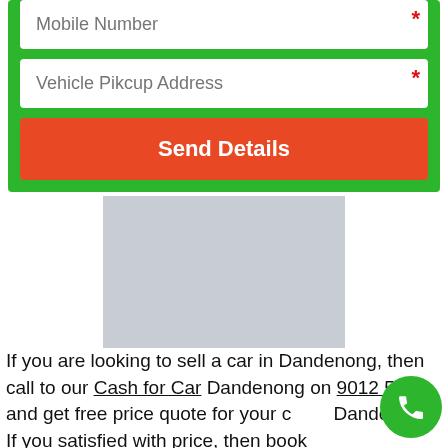[Figure (screenshot): Web form with green background containing Mobile Number input field with red asterisk, Vehicle Pikcup Address input field with red asterisk, and a red Send Details button]
[Figure (photo): Gray placeholder image rectangle]
If you are looking to sell a car in Dandenong, then call to our Cash for Car Dandenong on 9012 5912 and get free price quote for your car in Dandenong. If you satisfied with price, then book